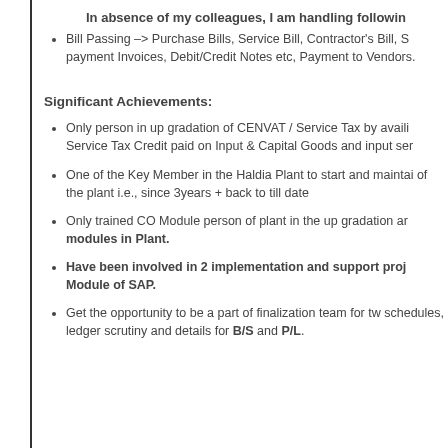In absence of my colleagues, I am handling following
Bill Passing –> Purchase Bills, Service Bill, Contractor's Bill, S payment Invoices, Debit/Credit Notes etc, Payment to Vendors.
Significant Achievements:
Only person in up gradation of CENVAT / Service Tax by availi Service Tax Credit paid on Input & Capital Goods and input ser
One of the Key Member in the Haldia Plant to start and maintai of the plant i.e., since 3years + back to till date
Only trained CO Module person of plant in the up gradation ar modules in Plant.
Have been involved in 2 implementation and support proj Module of SAP.
Get the opportunity to be a part of finalization team for tw schedules, ledger scrutiny and details for B/S and P/L.